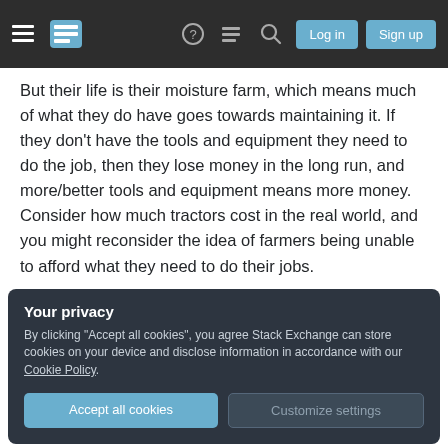Stack Exchange navigation bar with Log in and Sign up buttons
But their life is their moisture farm, which means much of what they do have goes towards maintaining it. If they don't have the tools and equipment they need to do the job, then they lose money in the long run, and more/better tools and equipment means more money. Consider how much tractors cost in the real world, and you might reconsider the idea of farmers being unable to afford what they need to do their jobs.
Your privacy
By clicking "Accept all cookies", you agree Stack Exchange can store cookies on your device and disclose information in accordance with our Cookie Policy.
Accept all cookies   Customize settings
reasonable to assume that moisture farmers make